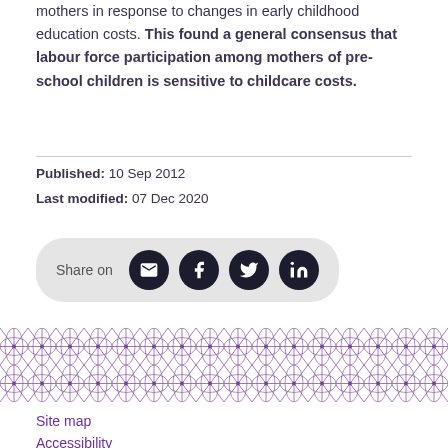mothers in response to changes in early childhood education costs. This found a general consensus that labour force participation among mothers of pre-school children is sensitive to childcare costs.
Published: 10 Sep 2012
Last modified: 07 Dec 2020
[Figure (infographic): Share on social media buttons: email, Facebook, Twitter, LinkedIn]
[Figure (illustration): Decorative purple geometric pattern band (repeating star/asterisk motif)]
Site map
Accessibility
About this site
Copyright
Privacy